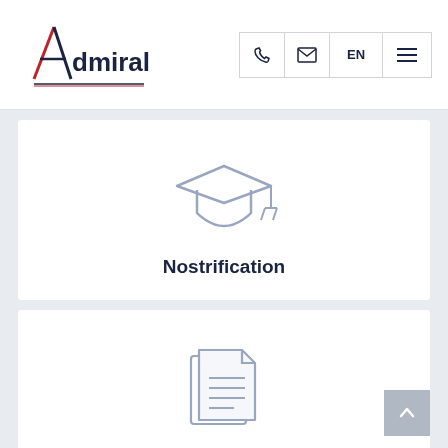[Figure (logo): Admiral company logo with stylized A and red/navy text]
[Figure (illustration): Graduation cap icon in light blue/grey outline style]
Nostrification
[Figure (illustration): Document/papers icon in light blue/grey outline style]
Certificate of no criminal records